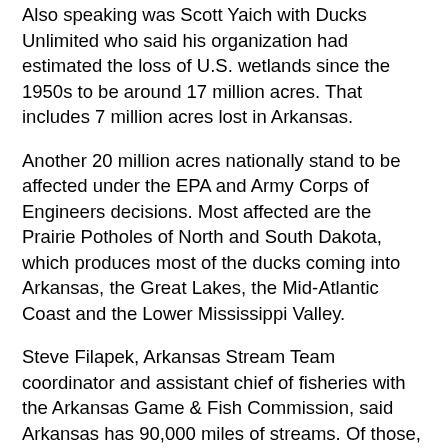Also speaking was Scott Yaich with Ducks Unlimited who said his organization had estimated the loss of U.S. wetlands since the 1950s to be around 17 million acres. That includes 7 million acres lost in Arkansas.
Another 20 million acres nationally stand to be affected under the EPA and Army Corps of Engineers decisions. Most affected are the Prairie Potholes of North and South Dakota, which produces most of the ducks coming into Arkansas, the Great Lakes, the Mid-Atlantic Coast and the Lower Mississippi Valley.
Steve Filapek, Arkansas Stream Team coordinator and assistant chief of fisheries with the Arkansas Game & Fish Commission, said Arkansas has 90,000 miles of streams. Of those, 70,000 miles could be classified as perennial or intermittent and are hence without protection under the recent decisions.
The number one pollutant of Arkansas water is sediment. An indicator of how big the sediment problem can be is the rare Arkansas darter. Filipek said a one-tenth of an inch of sediment over the darter eggs can result in greater than 50